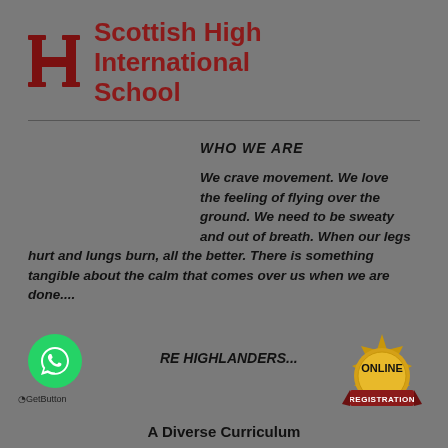[Figure (logo): Scottish High International School logo — stylized 'H' monogram in dark red/maroon]
Scottish High International School
WHO WE ARE
We crave movement. We love the feeling of flying over the ground. We need to be sweaty and out of breath. When our legs hurt and lungs burn, all the better. There is something tangible about the calm that comes over us when we are done....
RE HIGHLANDERS...
[Figure (logo): WhatsApp green circular button icon]
GetButton
[Figure (logo): Gold seal badge with red ribbon reading ONLINE REGISTRATION]
A Diverse Curriculum